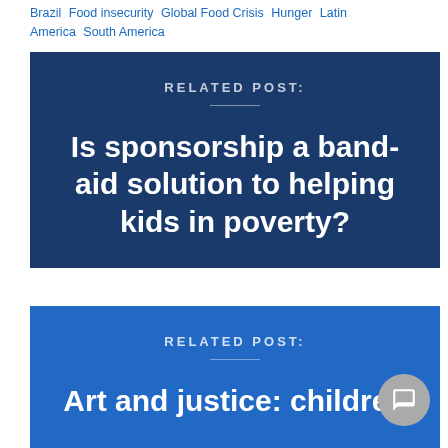Brazil  Food insecurity  Global Food Crisis  Hunger  Latin America  South America
[Figure (infographic): Dark navy blue card with 'RELATED POST:' label, horizontal divider, and title text 'Is sponsorship a band-aid solution to helping kids in poverty?']
[Figure (infographic): Medium blue card with 'RELATED POST:' label, horizontal divider, and partial title text 'Art and justice: children']